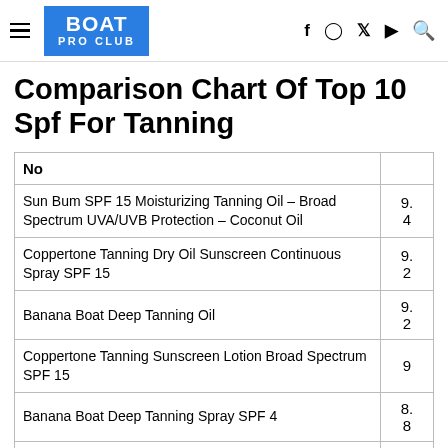BOAT PRO CLUB
Comparison Chart Of Top 10 Spf For Tanning
| No |  |
| --- | --- |
| Sun Bum SPF 15 Moisturizing Tanning Oil – Broad Spectrum UVA/UVB Protection – Coconut Oil | 9.4 |
| Coppertone Tanning Dry Oil Sunscreen Continuous Spray SPF 15 | 9.2 |
| Banana Boat Deep Tanning Oil | 9.2 |
| Coppertone Tanning Sunscreen Lotion Broad Spectrum SPF 15 | 9 |
| Banana Boat Deep Tanning Spray SPF 4 | 8.8 |
| Australian Gold Dark Tanning Accelerator Spray Gel | 8 |